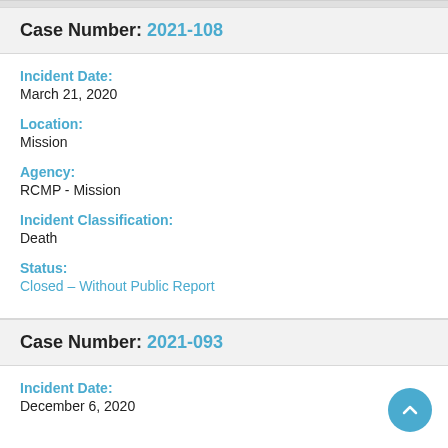Case Number: 2021-108
Incident Date:
March 21, 2020
Location:
Mission
Agency:
RCMP - Mission
Incident Classification:
Death
Status:
Closed – Without Public Report
Case Number: 2021-093
Incident Date:
December 6, 2020